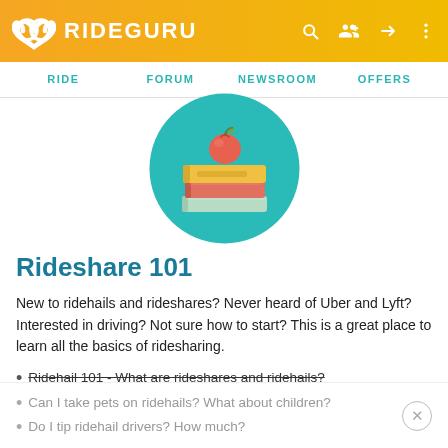RIDEGURU — RIDE | FORUM | NEWSROOM | OFFERS
[Figure (illustration): Teal circle icon containing a stack of three books (yellow, red, green) with a red apple on top with a green leaf, educational icon for Rideshare 101 section]
Rideshare 101
New to ridehails and rideshares? Never heard of Uber and Lyft? Interested in driving? Not sure how to start? This is a great place to learn all the basics of ridesharing.
Ridehail 101 - What are rideshares and ridehails?
Can I take pets on ridehails? What about children?
Do I tip ridehail drivers? How much?